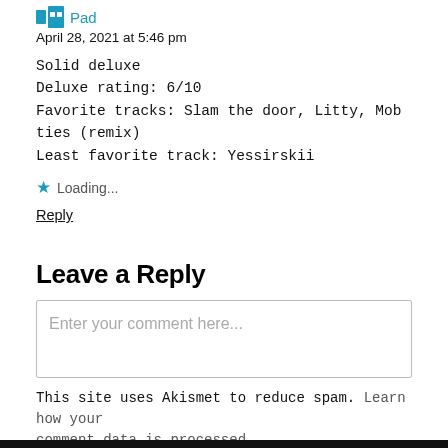Pad
April 28, 2021 at 5:46 pm
Solid deluxe
Deluxe rating: 6/10
Favorite tracks: Slam the door, Litty, Mob ties (remix)
Least favorite track: Yessirskii
Loading...
Reply
Leave a Reply
Enter your comment here...
This site uses Akismet to reduce spam. Learn how your comment data is processed.